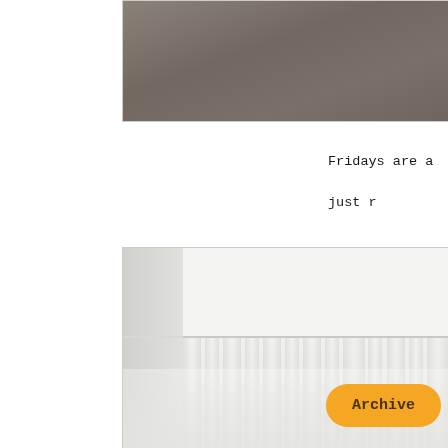[Figure (photo): Partial view of a fabric or textile surface with brownish-gray texture, cut off at the top of the page]
Fridays are a

just r
[Figure (photo): Interior room photo showing white curtains hanging from a curtain rod against a white wall]
Archive